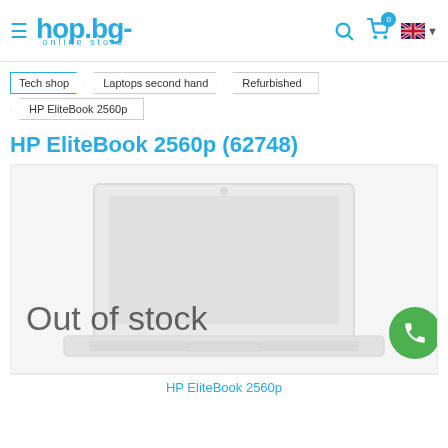hop.bg online store
Tech shop > Laptops second hand > Refurbished > HP EliteBook 2560p
HP EliteBook 2560p (62748)
[Figure (photo): HP EliteBook 2560p laptop product image with 'Out of stock' overlay text]
HP EliteBook 2560p